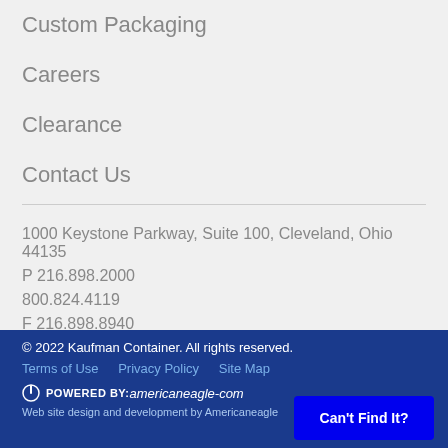Custom Packaging
Careers
Clearance
Contact Us
1000 Keystone Parkway, Suite 100, Cleveland, Ohio 44135
P 216.898.2000
800.824.4119
F 216.898.8940
© 2022 Kaufman Container. All rights reserved.
Terms of Use   Privacy Policy   Site Map
POWERED BY: americaneagle-com
Web site design and development by Americaneagle
Can't Find It?